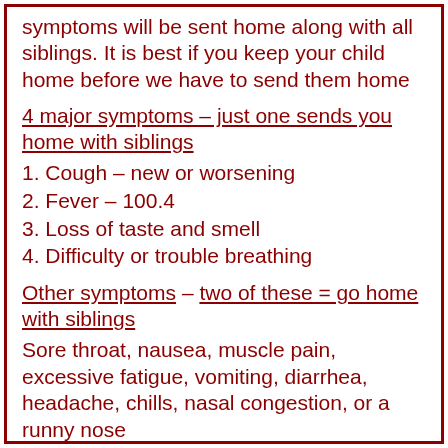symptoms will be sent home along with all siblings. It is best if you keep your child home before we have to send them home
4 major symptoms – just one sends you home with siblings
1. Cough – new or worsening
2. Fever – 100.4
3. Loss of taste and smell
4. Difficulty or trouble breathing
Other symptoms – two of these = go home with siblings
Sore throat, nausea, muscle pain, excessive fatigue, vomiting, diarrhea, headache, chills, nasal congestion, or a runny nose